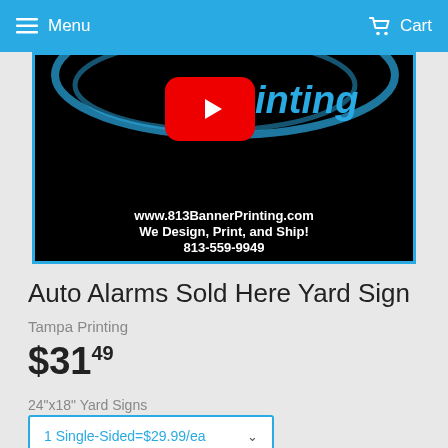Menu  Cart
[Figure (screenshot): YouTube video thumbnail for 813BannerPrinting.com showing a red YouTube play button over a black background with blue swirl logo and text: www.813BannerPrinting.com / We Design, Print, and Ship! / 813-559-9949]
Auto Alarms Sold Here Yard Sign
Tampa Printing
$31.49
24"x18" Yard Signs
1 Single-Sided=$29.99/ea